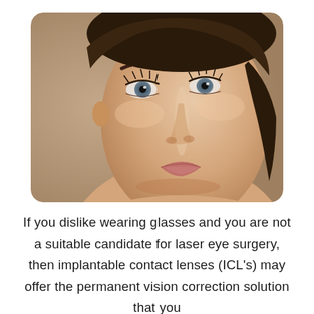[Figure (photo): Close-up portrait photo of a young woman with striking blue-grey eyes, defined eyebrows, long eyelashes, and natural makeup, set against a warm beige background. The image has rounded corners.]
If you dislike wearing glasses and you are not a suitable candidate for laser eye surgery, then implantable contact lenses (ICL's) may offer the permanent vision correction solution that you